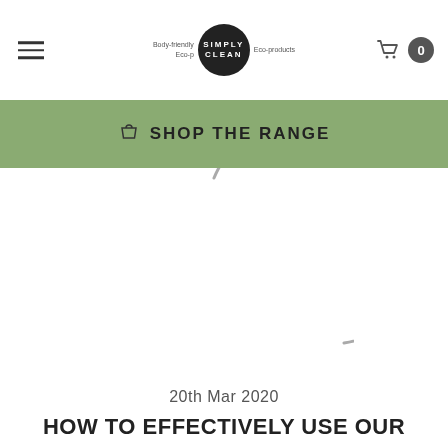Simply Clean — Shop The Range
SHOP THE RANGE
[Figure (illustration): Partial circle arc decorative element, grey stroke on white background]
20th Mar 2020
HOW TO EFFECTIVELY USE OUR